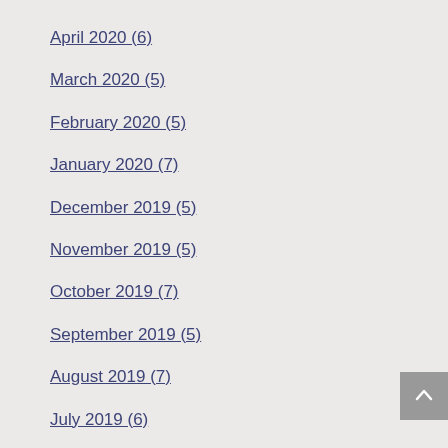April 2020 (6)
March 2020 (5)
February 2020 (5)
January 2020 (7)
December 2019 (5)
November 2019 (5)
October 2019 (7)
September 2019 (5)
August 2019 (7)
July 2019 (6)
June 2019 (5)
May 2019 (7)